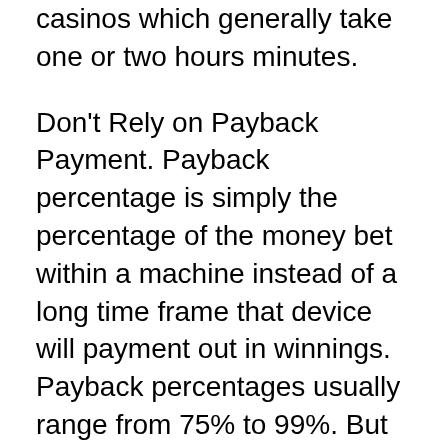casinos which generally take one or two hours minutes.
Don't Rely on Payback Payment. Payback percentage is simply the percentage of the money bet within a machine instead of a long time frame that device will payment out in winnings. Payback percentages usually range from 75% to 99%. But even that 99% payback machine get in coins for months on end before finally registering payout that are going to bring the percentage back in line.
To begin with, at the same time as slots are easy, you have to have know your betting limit properly. When you happen become on the losing streak, it would be advisable to remove off thus you must bet just that